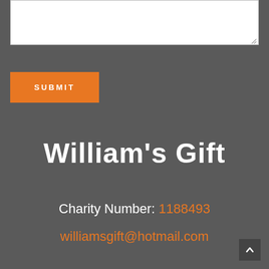[Figure (screenshot): White textarea input box at top of page]
SUBMIT
William's Gift
Charity Number: 1188493
williamsgift@hotmail.com